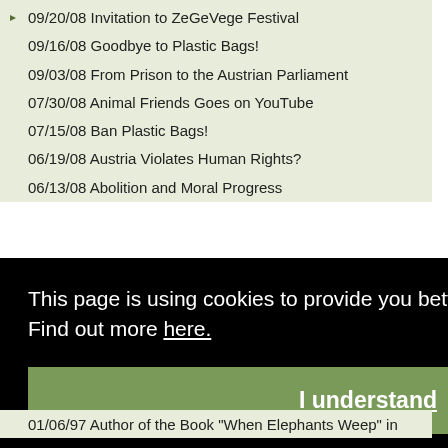09/20/08 Invitation to ZeGeVege Festival
09/16/08 Goodbye to Plastic Bags!
09/03/08 From Prison to the Austrian Parliament
07/30/08 Animal Friends Goes on YouTube
07/15/08 Ban Plastic Bags!
06/19/08 Austria Violates Human Rights?
06/13/08 Abolition and Moral Progress
This page is using cookies to provide you better user experience and functionality. Find out more here.
I understand
01/06/97 Author of the Book "When Elephants Weep" in